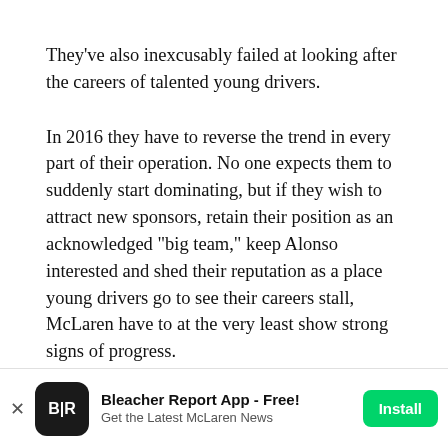They've also inexcusably failed at looking after the careers of talented young drivers.
In 2016 they have to reverse the trend in every part of their operation. No one expects them to suddenly start dominating, but if they wish to attract new sponsors, retain their position as an acknowledged "big team," keep Alonso interested and shed their reputation as a place young drivers go to see their careers stall, McLaren have to at the very least show strong signs of progress.
A big step from Honda, a genuinely good chassis, a new...
[Figure (other): Bleacher Report app advertisement banner with B/R logo, title 'Bleacher Report App - Free!', subtitle 'Get the Latest McLaren News', and a green Install button]